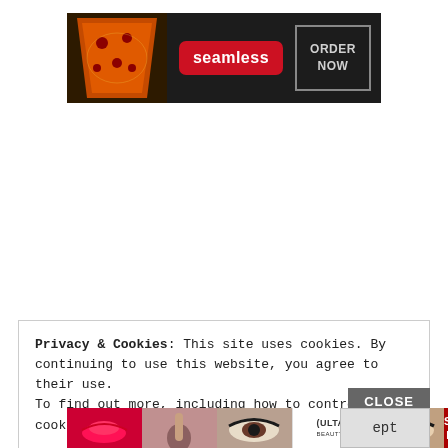[Figure (screenshot): Seamless food delivery advertisement banner with pizza image on left, red 'seamless' logo badge in center, and 'ORDER NOW' in outlined box on dark background]
[Figure (screenshot): Ulta Beauty advertisement banner showing makeup/beauty images and 'SHOP NOW' button]
Privacy & Cookies: This site uses cookies. By continuing to use this website, you agree to their use.
To find out more, including how to control cookies, see here: Cookie Policy
CLOSE
ept